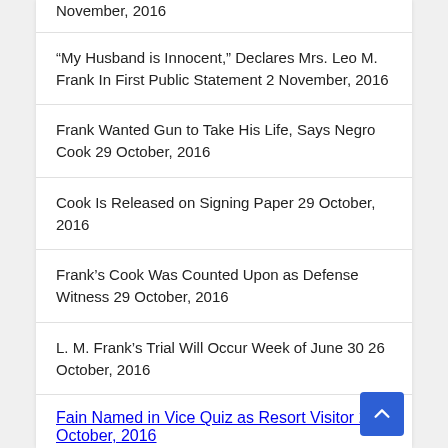November, 2016 (partial, cut off at top)
“My Husband is Innocent,” Declares Mrs. Leo M. Frank In First Public Statement 2 November, 2016
Frank Wanted Gun to Take His Life, Says Negro Cook 29 October, 2016
Cook Is Released on Signing Paper 29 October, 2016
Frank’s Cook Was Counted Upon as Defense Witness 29 October, 2016
L. M. Frank’s Trial Will Occur Week of June 30 26 October, 2016
Fain Named in Vice Quiz as Resort Visitor 26 October, 2016 (partial, cut off at bottom)